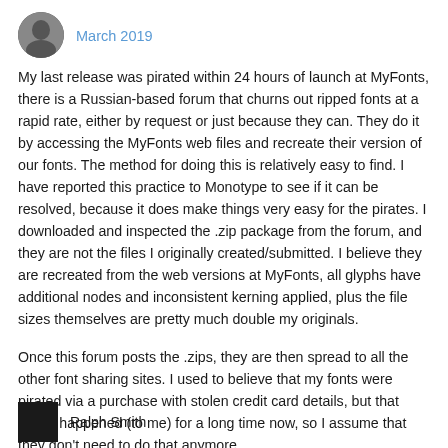[Figure (photo): Avatar photo of a person (grayscale silhouette/portrait)]
March 2019
My last release was pirated within 24 hours of launch at MyFonts, there is a Russian-based forum that churns out ripped fonts at a rapid rate, either by request or just because they can. They do it by accessing the MyFonts web files and recreate their version of our fonts. The method for doing this is relatively easy to find. I have reported this practice to Monotype to see if it can be resolved, because it does make things very easy for the pirates. I downloaded and inspected the .zip package from the forum, and they are not the files I originally created/submitted. I believe they are recreated from the web versions at MyFonts, all glyphs have additional nodes and inconsistent kerning applied, plus the file sizes themselves are pretty much double my originals.
Once this forum posts the .zips, they are then spread to all the other font sharing sites. I used to believe that my fonts were pirated via a purchase with stolen credit card details, but that hasn't happened (to me) for a long time now, so I assume that they don't need to do that anymore.
[Figure (photo): Small dark avatar/thumbnail at bottom left]
Ralph Smith